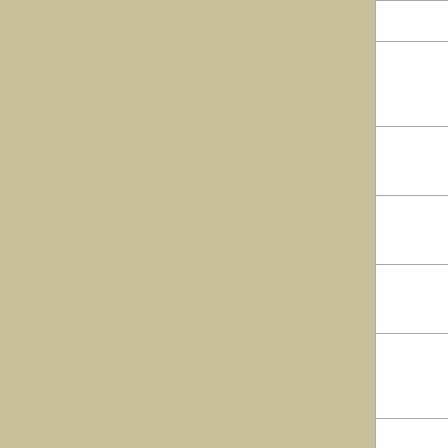| [col1] | Artist | Tracks |
| --- | --- | --- |
|  |  | Receive... |
|  | Lightnin' Hopkins | Play With... Poodle/D... Now Bab... |
|  | ELIE BAIDA | Reddy A... Kashaft ... |
|  | Prof. Mohamed Abdel-Wahab | Hasadou... Parts 1 &... |
|  | El Goundoul | In Arabic... |
|  | The Barton Brothers | Cock-Eye... Jenny / M... the Flapp... |
|  | Dinah Washington | No Voot, / Wise W... Blues |
|  | The Five Royals | Baby Do... / Take All... |
|  | The Five Royals | I Like it L... / Cry So... |
|  | Illinois Jacquet and His all Stars | 12 Minut... / She's fu... That Way... |
|  | Arnett Cobb | Cobb's C... Pay It No... |
|  | Erroll Garner | These Fo... Things R... ... |